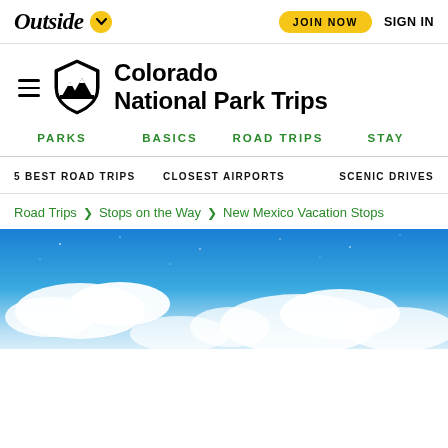Outside | JOIN NOW | SIGN IN
Colorado National Park Trips
PARKS
BASICS
ROAD TRIPS
STAY
5 BEST ROAD TRIPS
CLOSEST AIRPORTS
SCENIC DRIVES
Road Trips > Stops on the Way > New Mexico Vacation Stops
[Figure (photo): Blue sky with white clouds, hero image for New Mexico Vacation Stops article]